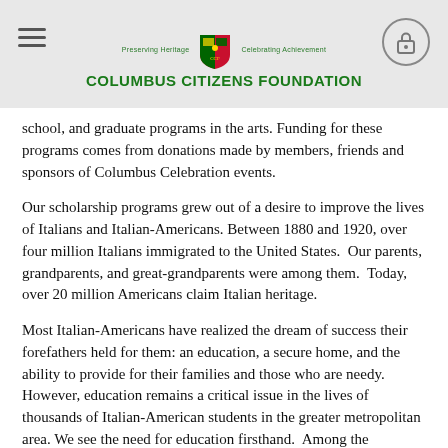Columbus Citizens Foundation
school, and graduate programs in the arts. Funding for these programs comes from donations made by members, friends and sponsors of Columbus Celebration events.
Our scholarship programs grew out of a desire to improve the lives of Italians and Italian-Americans. Between 1880 and 1920, over four million Italians immigrated to the United States. Our parents, grandparents, and great-grandparents were among them. Today, over 20 million Americans claim Italian heritage.
Most Italian-Americans have realized the dream of success their forefathers held for them: an education, a secure home, and the ability to provide for their families and those who are needy. However, education remains a critical issue in the lives of thousands of Italian-American students in the greater metropolitan area. We see the need for education firsthand. Among the applicants to our college scholarship program, many will be the first members of their families to receive a college degree.